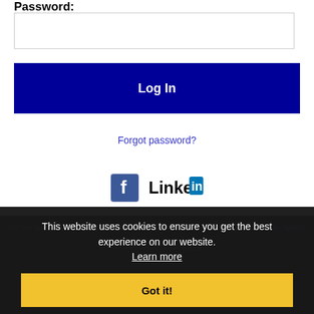Password:
Log In
Forgot password?
[Figure (logo): Facebook logo icon and LinkedIn logo icon side by side]
Get the latest Minnesota jobs by following @jacneMN on Twitter.
Minnesota RSS job feeds
This website uses cookies to ensure you get the best experience on our website. Learn more
Got it!